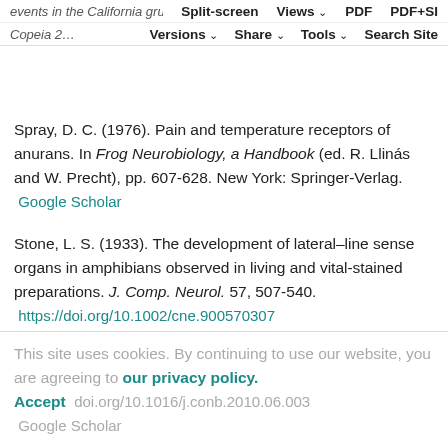events in the California grunion, Leuresthes tenuis. Copeia 2... Split-screen | Views | PDF | PDF+SI | Versions | Share | Tools | Search Site
Spray, D. C. (1976). Pain and temperature receptors of anurans. In Frog Neurobiology, a Handbook (ed. R. Llinás and W. Precht), pp. 607-628. New York: Springer-Verlag.
Google Scholar
Stone, L. S. (1933). The development of lateral–line sense organs in amphibians observed in living and vital-stained preparations. J. Comp. Neurol. 57, 507-540.
https://doi.org/10.1002/cne.900570307
Google Scholar
Straka, H. (2010). Ontogenetic rules and constraints of
This site uses cookies. By continuing to use our website, you are agreeing to our privacy policy. Accept
https://doi.org/10.1016/j.conb.2010.06.003
Google Scholar